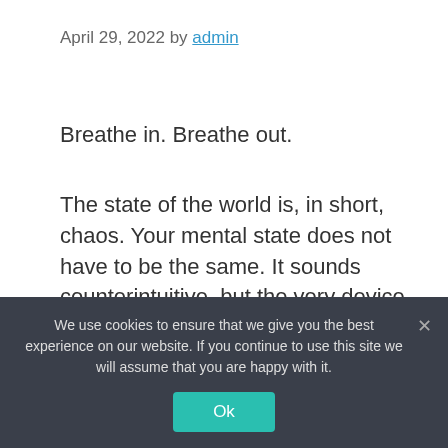April 29, 2022 by admin
Breathe in. Breathe out.
The state of the world is, in short, chaos. Your mental state does not have to be the same. It sounds counterintuitive, but the very device that delivers anxiety-inducing news could be the thing that brings you a bit of calm.
Meditation apps are a welcome window into
We use cookies to ensure that we give you the best experience on our website. If you continue to use this site we will assume that you are happy with it.